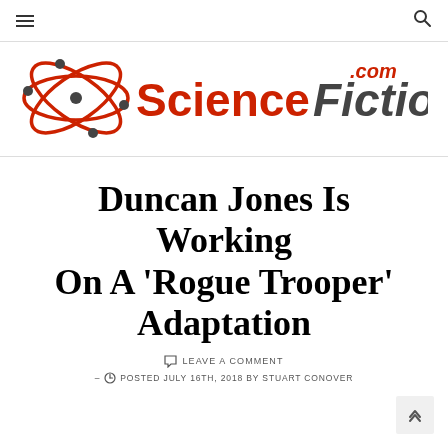≡  🔍
[Figure (logo): ScienceFiction.com logo with atom graphic and red/dark text]
Duncan Jones Is Working On A 'Rogue Trooper' Adaptation
LEAVE A COMMENT
– POSTED JULY 16TH, 2018 BY STUART CONOVER